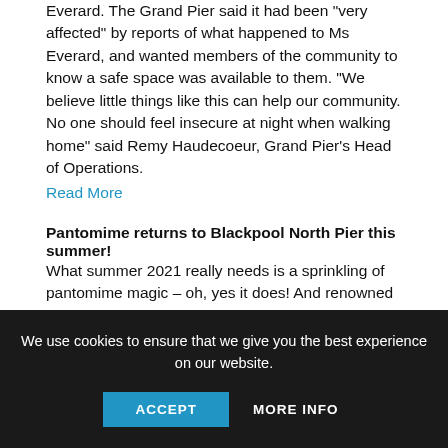Everard. The Grand Pier said it had been "very affected" by reports of what happened to Ms Everard, and wanted members of the community to know a safe space was available to them. "We believe little things like this can help our community. No one should feel insecure at night when walking home" said Remy Haudecoeur, Grand Pier's Head of Operations.
Read More
Pantomime returns to Blackpool North Pier this summer!
What summer 2021 really needs is a sprinkling of pantomime magic – oh, yes it does! And renowned theatre company LHK Productions was set to get tongues wagging with its summer treat Aladdin and His Magic Ring, which would be presented exclusively for grown-ups. The adult-themed production would open at North Pier's Joe Longthorne Theatre on July 24 for a month-long run, with television personality Kim Woodburn announced in the role of the
We use cookies to ensure that we give you the best experience on our website.
ACCEPT
MORE INFO